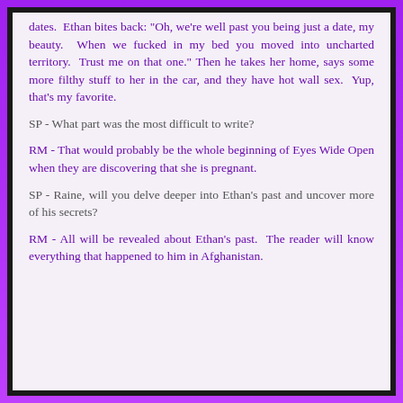dates.  Ethan bites back: "Oh, we're well past you being just a date, my beauty.  When we fucked in my bed you moved into uncharted territory.  Trust me on that one." Then he takes her home, says some more filthy stuff to her in the car, and they have hot wall sex.  Yup, that's my favorite.
SP - What part was the most difficult to write?
RM - That would probably be the whole beginning of Eyes Wide Open when they are discovering that she is pregnant.
SP - Raine, will you delve deeper into Ethan's past and uncover more of his secrets?
RM - All will be revealed about Ethan's past. The reader will know everything that happened to him in Afghanistan.